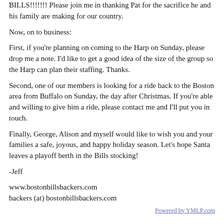BILLS!!!!!!!  Please join me in thanking Pat for the sacrifice he and his family are making for our country.
Now, on to business:
First, if you're planning on coming to the Harp on Sunday, please drop me a note. I'd like to get a good idea of the size of the group so the Harp can plan their staffing. Thanks.
Second, one of our members is looking for a ride back to the Boston area from Buffalo on Sunday, the day after Christmas. If you're able and willing to give him a ride, please contact me and I'll put you in touch.
Finally, George, Alison and myself would like to wish you and your families a safe, joyous, and happy holiday season. Let's hope Santa leaves a playoff berth in the Bills stocking!
-Jeff
www.bostonbillsbackers.com
backers (at) bostonbillsbackers.com
Powered by YMLP.com